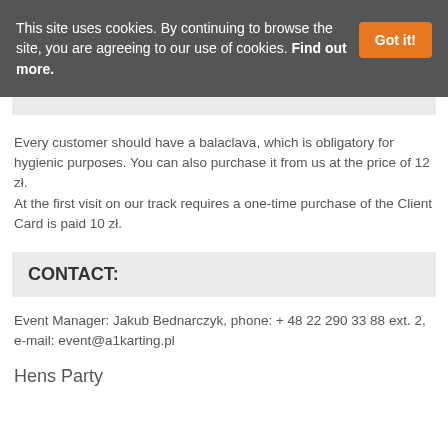This site uses cookies. By continuing to browse the site, you are agreeing to our use of cookies. Find out more.
Every customer should have a balaclava, which is obligatory for hygienic purposes. You can also purchase it from us at the price of 12 zł.
At the first visit on our track requires a one-time purchase of the Client Card is paid 10 zł.
CONTACT:
Event Manager: Jakub Bednarczyk, phone: + 48 22 290 33 88 ext. 2, e-mail: event@a1karting.pl
Hens Party